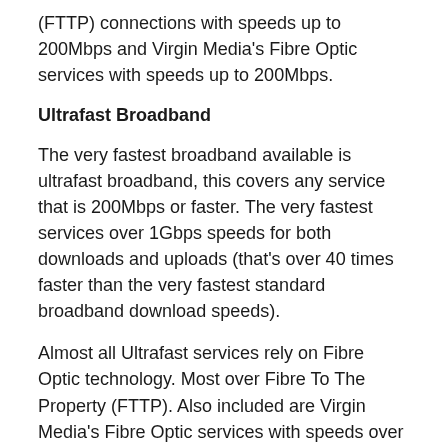(FTTP) connections with speeds up to 200Mbps and Virgin Media's Fibre Optic services with speeds up to 200Mbps.
Ultrafast Broadband
The very fastest broadband available is ultrafast broadband, this covers any service that is 200Mbps or faster. The very fastest services over 1Gbps speeds for both downloads and uploads (that's over 40 times faster than the very fastest standard broadband download speeds).
Almost all Ultrafast services rely on Fibre Optic technology. Most over Fibre To The Property (FTTP). Also included are Virgin Media's Fibre Optic services with speeds over 200Mbps
When you sign up with a broadband provider for a new